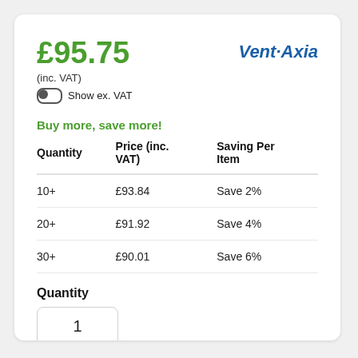£95.75
(inc. VAT)
Show ex. VAT
Vent-Axia
Buy more, save more!
| Quantity | Price (inc. VAT) | Saving Per Item |
| --- | --- | --- |
| 10+ | £93.84 | Save 2% |
| 20+ | £91.92 | Save 4% |
| 30+ | £90.01 | Save 6% |
Quantity
1